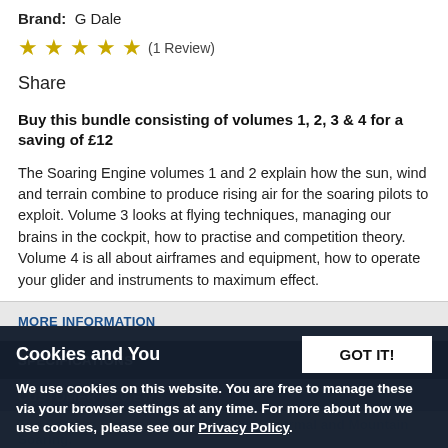Brand: G Dale
[Figure (other): 5 gold stars rating with (1 Review) text]
Share
Buy this bundle consisting of volumes 1, 2, 3 & 4 for a saving of £12
The Soaring Engine volumes 1 and 2 explain how the sun, wind and terrain combine to produce rising air for the soaring pilots to exploit. Volume 3 looks at flying techniques, managing our brains in the cockpit, how to practise and competition theory. Volume 4 is all about airframes and equipment, how to operate your glider and instruments to maximum effect.
MORE INFORMATION
SPECIFICATIONS
CUSTOMER REVIEWS
Cookies and You
GOT IT!
We use cookies on this website. You are free to manage these via your browser settings at any time. For more about how we use cookies, please see our Privacy Policy.
The Soaring Engine Volume 1 - Ridge, Thermal and Mountain Soaring.
In this volume, you will see how the wind flows over and around hills, ridges and mountains, how thermals form and evolve, the